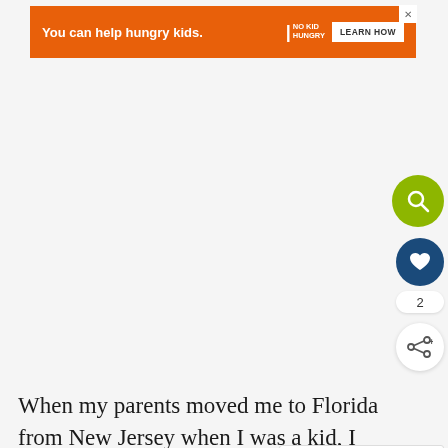[Figure (other): Orange advertisement banner for No Kid Hungry with text 'You can help hungry kids.' and a 'Learn How' button]
[Figure (other): Green circular search icon button on the right side]
[Figure (other): Dark blue circular heart/like icon button with count of 2]
[Figure (other): White share button with plus icon]
When my parents moved me to Florida from New Jersey when I was a kid, I longed for weather from back home.  Building snowmen.
[Figure (other): What's Next sidebar showing a thumbnail image and title 'Quick and Easy Chicke...']
sledding, and snowball fights were all a thing of